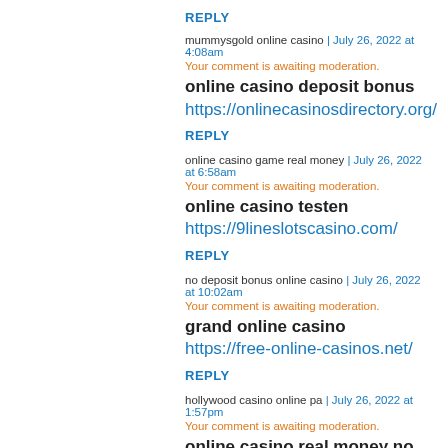REPLY
mummysgold online casino | July 26, 2022 at 4:08am
Your comment is awaiting moderation.
online casino deposit bonus
https://onlinecasinosdirectory.org/
REPLY
online casino game real money | July 26, 2022 at 6:58am
Your comment is awaiting moderation.
online casino testen https://9lineslotscasino.com/
REPLY
no deposit bonus online casino | July 26, 2022 at 10:02am
Your comment is awaiting moderation.
grand online casino https://free-online-casinos.net/
REPLY
hollywood casino online pa | July 26, 2022 at 1:57pm
Your comment is awaiting moderation.
online casino real money no deposit bonus